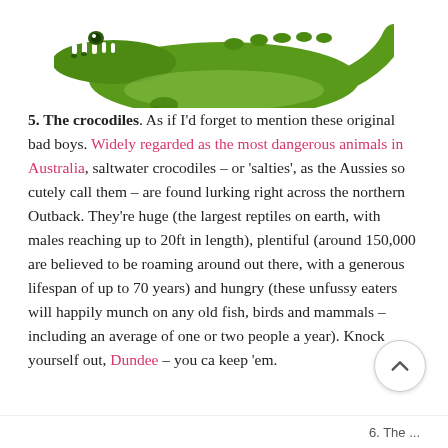[Figure (illustration): Cartoon illustration of a green crocodile, partially cropped at top, showing head and body from above]
5. The crocodiles. As if I'd forget to mention these original bad boys. Widely regarded as the most dangerous animals in Australia, saltwater crocodiles – or 'salties', as the Aussies so cutely call them – are found lurking right across the northern Outback. They're huge (the largest reptiles on earth, with males reaching up to 20ft in length), plentiful (around 150,000 are believed to be roaming around out there, with a generous lifespan of up to 70 years) and hungry (these unfussy eaters will happily munch on any old fish, birds and mammals – including an average of one or two people a year). Knock yourself out, Dundee – you ca keep 'em.
6. The ...